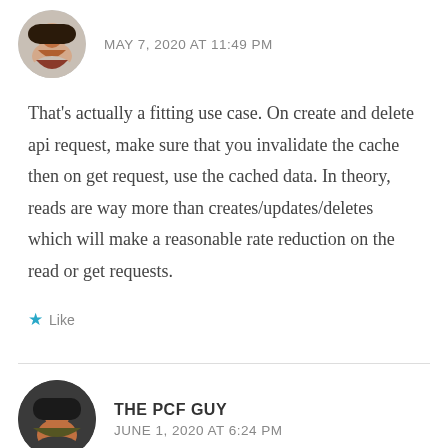MAY 7, 2020 AT 11:49 PM
That's actually a fitting use case. On create and delete api request, make sure that you invalidate the cache then on get request, use the cached data. In theory, reads are way more than creates/updates/deletes which will make a reasonable rate reduction on the read or get requests.
Like
THE PCF GUY
JUNE 1, 2020 AT 6:24 PM